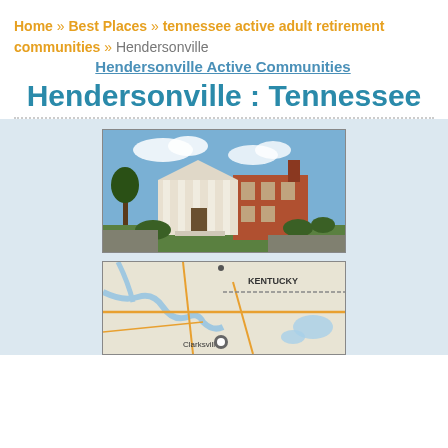Home » Best Places » tennessee active adult retirement communities » Hendersonville
Hendersonville Active Communities
Hendersonville : Tennessee
[Figure (photo): Photograph of a brick colonial-style building with white columns and a chimney, surrounded by trees and green lawn.]
[Figure (map): Map showing Hendersonville, Tennessee area with Kentucky border visible, roads, waterways, and a marker near Clarksville.]